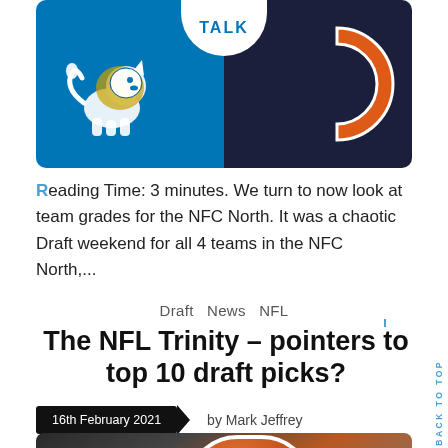[Figure (illustration): NFL teams banner showing Detroit Lions logo on blue background and Chicago Bears 'C' logo on dark navy background, with 'TALK' text in a white circle at center top]
Reading Time: 3 minutes. We turn to now look at team grades for the NFC North. It was a chaotic Draft weekend for all 4 teams in the NFC North,...
Draft   News   NFL
The NFL Trinity – pointers to top 10 draft picks?
16th February 2021   by Mark Jeffrey
[Figure (photo): Football player wearing an orange helmet and uniform, close-up action shot with blurred background]